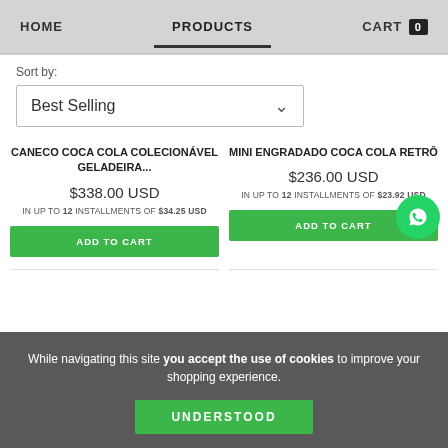HOME   PRODUCTS   CART 0
Sort by:
Best Selling
CANECO COCA COLA COLECIONÁVEL GELADEIRA...
$338.00 USD
IN UP TO 12 INSTALLMENTS OF $34.25 USD
ADD TO CART
MINI ENGRADADO COCA COLA RETRÔ
$236.00 USD
IN UP TO 12 INSTALLMENTS OF $23.92 USD
ADD TO CART
[Figure (logo): WhatsApp circular green button with phone icon]
While navigating this site you accept the use of cookies to improve your shopping experience.
UNDERSTOOD